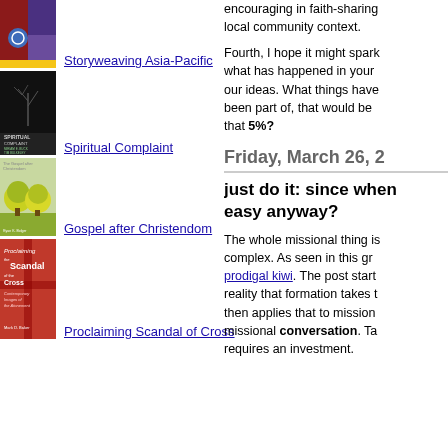[Figure (photo): Book cover: Storyweaving Asia-Pacific, colorful abstract design with blue circle shapes]
Storyweaving Asia-Pacific
[Figure (photo): Book cover: Spiritual Complaint, dark cover with bare tree branches]
Spiritual Complaint
[Figure (photo): Book cover: The Gospel after Christendom, green trees illustration]
Gospel after Christendom
[Figure (photo): Book cover: Proclaiming the Scandal of the Cross, red cover with cross design, by Mark D. Baker]
Proclaiming Scandal of Cross
encouraging in faith-sharing local community context.
Fourth, I hope it might spark what has happened in your our ideas. What things have been part of, that would be that 5%?
Friday, March 26, 2
just do it: since when easy anyway?
The whole missional thing is complex. As seen in this gr prodigal kiwi. The post start reality that formation takes t then applies that to mission missional conversation. Ta requires an investment.